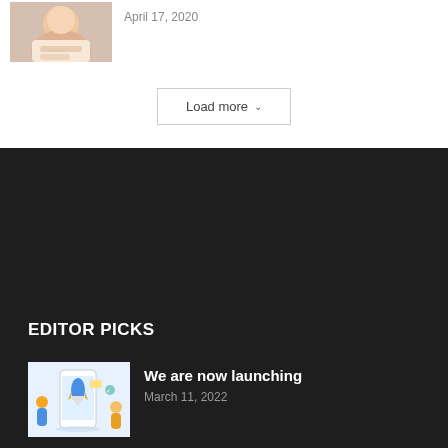[Figure (photo): Person resting chin on hands, photo thumbnail]
April 17, 2020
Load more
EDITOR PICKS
[Figure (illustration): App launch illustration with rocket and phone]
We are now launching
March 11, 2022
POPULAR POSTS
[Figure (illustration): Two hands forming heart shape with red heart]
Smart Communication Tips For Relationship Success – Respond Wisely With An...
October 17, 2019